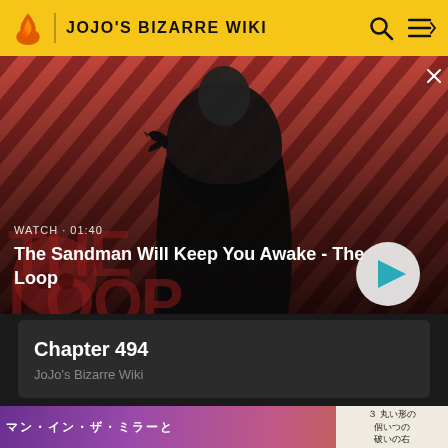JOJO'S BIZARRE WIKI
[Figure (screenshot): Video banner showing a man in a black cape with a crow on his shoulder against a red and dark diagonal striped background. Text overlay: WATCH · 01:40. Title: The Sandman Will Keep You Awake - The Loop. Play button visible bottom right.]
Chapter 494
JoJo's Bizarre Wiki
[Figure (illustration): Bottom manga strip showing Japanese text マン・イン・ザ・ミラーと in colorful manga style, with a panel on the right showing Japanese text including 3, 丸い形の, あれいつの, 破いの右]